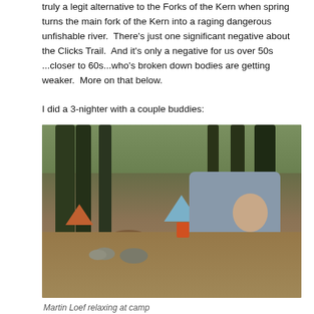truly a legit alternative to the Forks of the Kern when spring turns the main fork of the Kern into a raging dangerous unfishable river.  There's just one significant negative about the Clicks Trail.  And it's only a negative for us over 50s ...closer to 60s...who's broken down bodies are getting weaker.  More on that below.

I did a 3-nighter with a couple buddies:
[Figure (photo): Outdoor camping scene with tents among tall trees, a stone fire ring, and a man in a grey t-shirt and khaki pants relaxing on the ground.]
Martin Loef relaxing at camp